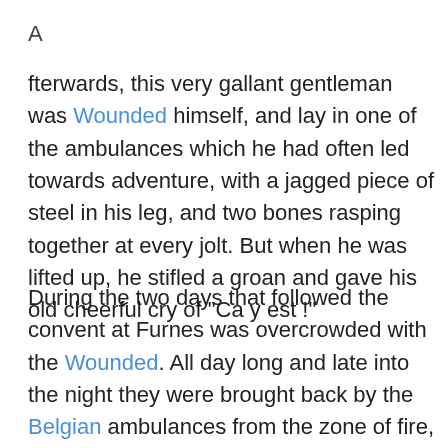A
fterwards, this very gallant gentleman was Wounded himself, and lay in one of the ambulances which he had often led towards adventure, with a jagged piece of steel in his leg, and two bones rasping together at every jolt. But when he was lifted up, he stifled a groan and gave his old cheerful cry of "Ca y est !"
During the two days that followed the convent at Furnes was overcrowded with the Wounded. All day long and late into the night they were brought back by the Belgian ambulances from the zone of fire, and hardly an hour passed without a bang at the great wooden gates in the courtyard which were